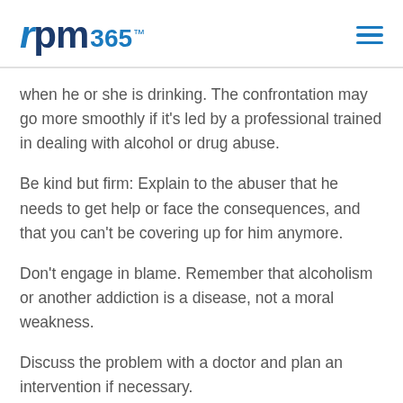rpm365™
when he or she is drinking. The confrontation may go more smoothly if it's led by a professional trained in dealing with alcohol or drug abuse.
Be kind but firm: Explain to the abuser that he needs to get help or face the consequences, and that you can't be covering up for him anymore.
Don't engage in blame. Remember that alcoholism or another addiction is a disease, not a moral weakness.
Discuss the problem with a doctor and plan an intervention if necessary.
Don't wait until it's too late, and don't neglect your own